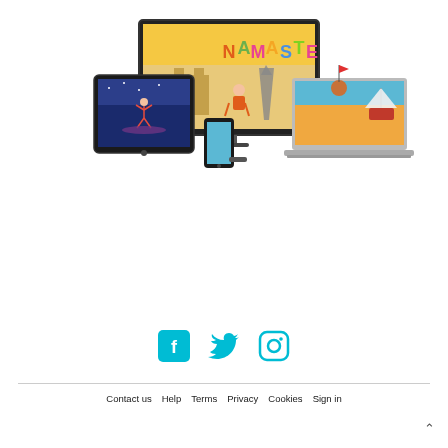[Figure (illustration): Multiple devices (tablet, phone, laptop, large monitor) displaying animated yoga/fitness game scenes including 'NAMASTE' text, children doing yoga poses in cartoon environments]
[Figure (infographic): Three social media icons: Facebook, Twitter/X, and Instagram in teal/cyan color]
Contact us   Help   Terms   Privacy   Cookies   Sign in